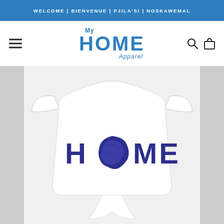WELCOME | BIENVENUE | PJILA'SI | NOSKAWEMAL
[Figure (logo): My Home Apparel logo in blue with 'My' in script above large bold HOME and 'Apparel' in script below]
[Figure (photo): White baby onesie with 'HOME' printed in dark navy/purple, where the letter O is replaced by a map silhouette of Nova Scotia]